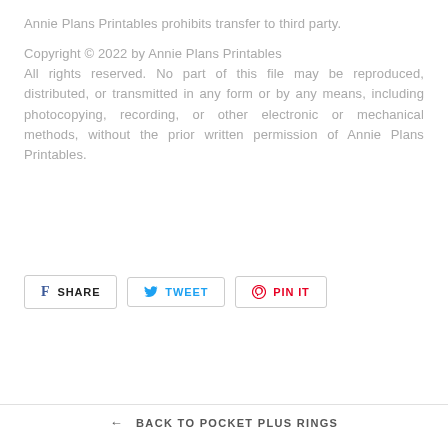Annie Plans Printables prohibits transfer to third party.
Copyright © 2022 by Annie Plans Printables All rights reserved. No part of this file may be reproduced, distributed, or transmitted in any form or by any means, including photocopying, recording, or other electronic or mechanical methods, without the prior written permission of Annie Plans Printables.
[Figure (other): Three social sharing buttons: SHARE (Facebook), TWEET (Twitter), PIN IT (Pinterest)]
← BACK TO POCKET PLUS RINGS